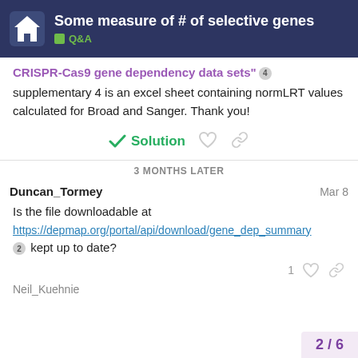Some measure of # of selective genes | Q&A
CRISPR-Cas9 gene dependency data sets" 4
supplementary 4 is an excel sheet containing normLRT values calculated for Broad and Sanger. Thank you!
Solution
3 MONTHS LATER
Duncan_Tormey  Mar 8
Is the file downloadable at https://depmap.org/portal/api/download/gene_dep_summary 2 kept up to date?
1
2 / 6
Neil_Kuehnie